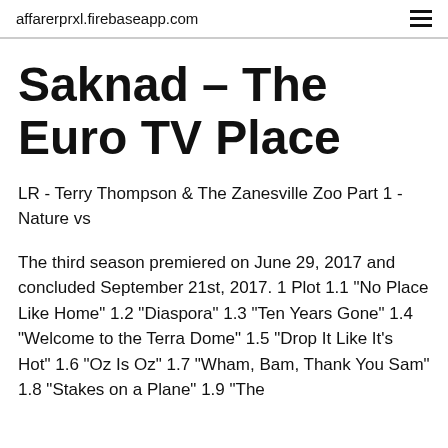affarerprxl.firebaseapp.com
Saknad – The Euro TV Place
LR - Terry Thompson & The Zanesville Zoo Part 1 - Nature vs
The third season premiered on June 29, 2017 and concluded September 21st, 2017. 1 Plot 1.1 "No Place Like Home" 1.2 "Diaspora" 1.3 "Ten Years Gone" 1.4 "Welcome to the Terra Dome" 1.5 "Drop It Like It's Hot" 1.6 "Oz Is Oz" 1.7 "Wham, Bam, Thank You Sam" 1.8 "Stakes on a Plane" 1.9 "The